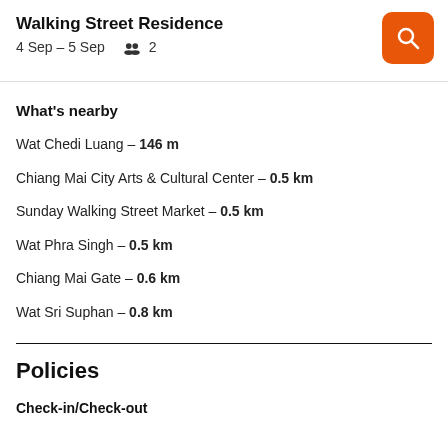Walking Street Residence
4 Sep – 5 Sep   👥 2
What's nearby
Wat Chedi Luang – 146 m
Chiang Mai City Arts & Cultural Center – 0.5 km
Sunday Walking Street Market – 0.5 km
Wat Phra Singh – 0.5 km
Chiang Mai Gate – 0.6 km
Wat Sri Suphan – 0.8 km
Policies
Check-in/Check-out